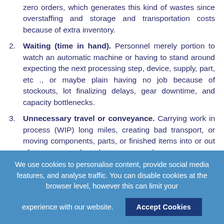zero orders, which generates this kind of wastes since overstaffing and storage and transportation costs because of extra inventory.
2. Waiting (time in hand). Personnel merely portion to watch an automatic machine or having to stand around expecting the next processing step, device, supply, part, etc ., or maybe plain having no job because of stockouts, lot finalizing delays, gear downtime, and capacity bottlenecks.
3. Unnecessary travel or conveyance. Carrying work in process (WIP) long miles, creating bad transport, or moving components, parts, or finished items into or out of storage or perhaps between procedures.
4. Overprocessing or perhaps incorrect processing. Taking unnecessary steps to process the parts. Inefficiently control due to poor tool and product style, causing
We use cookies to personalise content, provide social media features, and analyse traffic. You can disable cookies at the browser level, however this can limit your experience with our website.